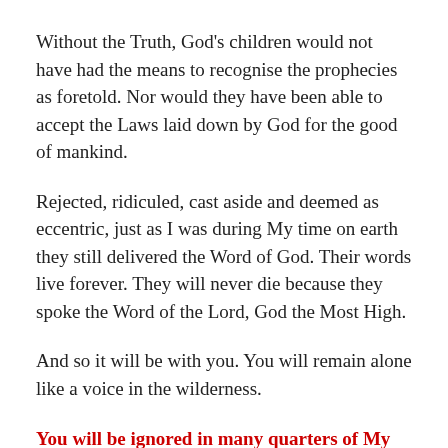Without the Truth, God’s children would not have had the means to recognise the prophecies as foretold. Nor would they have been able to accept the Laws laid down by God for the good of mankind.
Rejected, ridiculed, cast aside and deemed as eccentric, just as I was during My time on earth they still delivered the Word of God. Their words live forever. They will never die because they spoke the Word of the Lord, God the Most High.
And so it will be with you. You will remain alone like a voice in the wilderness.
You will be ignored in many quarters of My Church on earth.
The difference this time is that these prophecies will